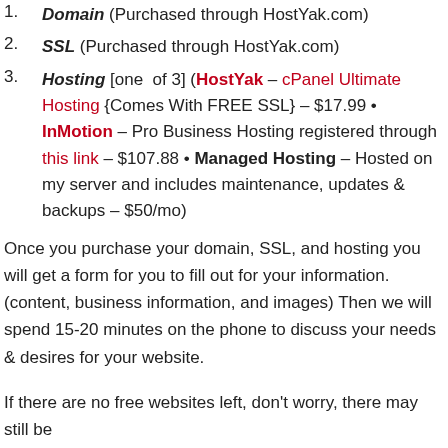1. Domain (Purchased through HostYak.com)
2. SSL (Purchased through HostYak.com)
3. Hosting [one of 3] (HostYak – cPanel Ultimate Hosting {Comes With FREE SSL} – $17.99 • InMotion – Pro Business Hosting registered through this link – $107.88 • Managed Hosting – Hosted on my server and includes maintenance, updates & backups – $50/mo)
Once you purchase your domain, SSL, and hosting you will get a form for you to fill out for your information. (content, business information, and images) Then we will spend 15-20 minutes on the phone to discuss your needs & desires for your website.
If there are no free websites left, don't worry, there may still be